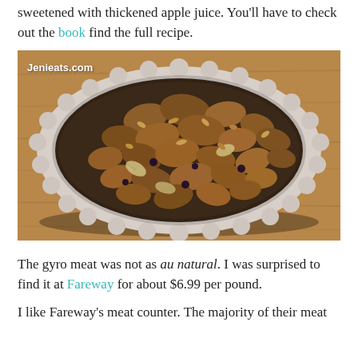sweetened with thickened apple juice. You'll have to check out the book find the full recipe.
[Figure (photo): A ceramic pie dish filled with a fruit crumble or crisp topping, shown from above on a wooden surface. The dish has a scalloped white/cream edge and is filled with a golden-brown oat and nut crumble topping over what appears to be apple and blueberry filling. Watermark reads 'Jenieats.com'.]
The gyro meat was not as au natural. I was surprised to find it at Fareway for about $6.99 per pound.
I like Fareway's meat counter. The majority of their meat